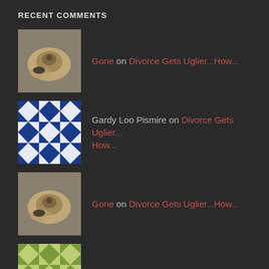RECENT COMMENTS
Gone on Divorce Gets Uglier...How...
Gardy Loo Pismire on Divorce Gets Uglier...How...
Gone on Divorce Gets Uglier...How...
Nicole on Divorce Gets Uglier...How...
Gone on Dating After Divorce
ARCHIVES
July 2020